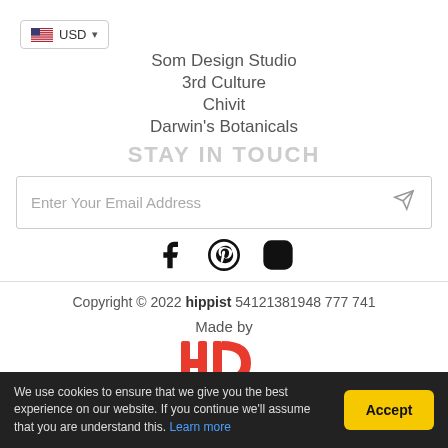[Figure (other): USD currency selector button with US flag and dropdown arrow]
Som Design Studio
3rd Culture
Chivit
Darwin's Botanicals
STAY IN TOUCH
[Figure (other): Email subscription input box with send icon button]
[Figure (other): Social media icons: Facebook, Pinterest, Instagram]
Copyright © 2022 hippist 54121381948 777 741
Made by
[Figure (logo): HD red logo partially visible at bottom]
We use cookies to ensure that we give you the best experience on our website. If you continue we'll assume that you are understand this. Learn more